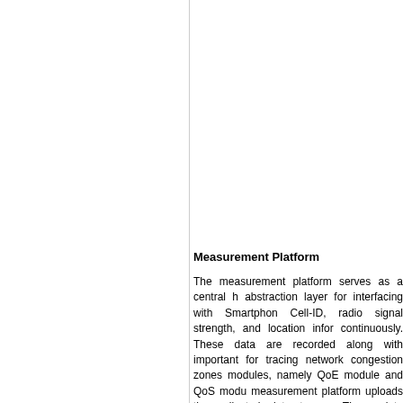Measurement Platform
The measurement platform serves as a central h abstraction layer for interfacing with Smartphon Cell-ID, radio signal strength, and location infor continuously. These data are recorded along with important for tracing network congestion zones modules, namely QoE module and QoS modu measurement platform uploads the collected dat storage. These data uploads are carried out ma normal phone usage. To support network meas events (e.g. radio signal strength below a certain engine is incorporated in the measurement plat inventory (defined by Sensor Rules API) and tri dynamic update to the rules for triggering measur simple modification of the rule-set (e.g. by SMS